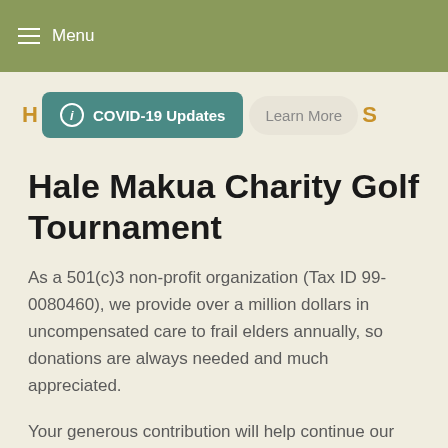Menu
[Figure (screenshot): Navigation bar with COVID-19 Updates button and Learn More button]
Hale Makua Charity Golf Tournament
As a 501(c)3 non-profit organization (Tax ID 99-0080460), we provide over a million dollars in uncompensated care to frail elders annually, so donations are always needed and much appreciated.
Your generous contribution will help continue our legacy of providing care and a home for individuals who can no longer care for themselves, and will